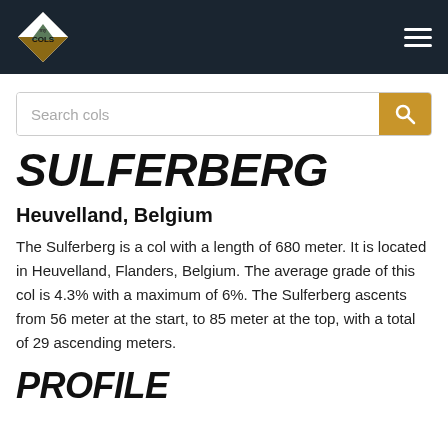my COLS
SULFERBERG
Heuvelland, Belgium
The Sulferberg is a col with a length of 680 meter. It is located in Heuvelland, Flanders, Belgium. The average grade of this col is 4.3% with a maximum of 6%. The Sulferberg ascents from 56 meter at the start, to 85 meter at the top, with a total of 29 ascending meters.
PROFILE